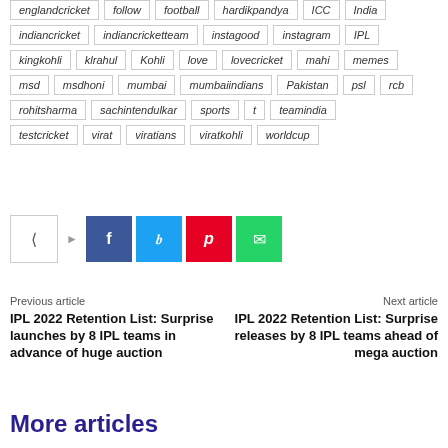englandcricket, follow, football, hardikpandya, ICC, India, indiancricket, indiancricketteam, instagood, instagram, IPL, kingkohli, klrahul, Kohli, love, lovecricket, mahi, memes, msd, msdhoni, mumbai, mumbaiindians, Pakistan, psl, rcb, rohitsharma, sachintendulkar, sports, t, teamindia, testcricket, virat, viratians, viratkohli, worldcup
[Figure (other): Social share buttons: share icon, Facebook, Twitter, Pinterest, WhatsApp]
Previous article
IPL 2022 Retention List: Surprise launches by 8 IPL teams in advance of huge auction
Next article
IPL 2022 Retention List: Surprise releases by 8 IPL teams ahead of mega auction
More articles